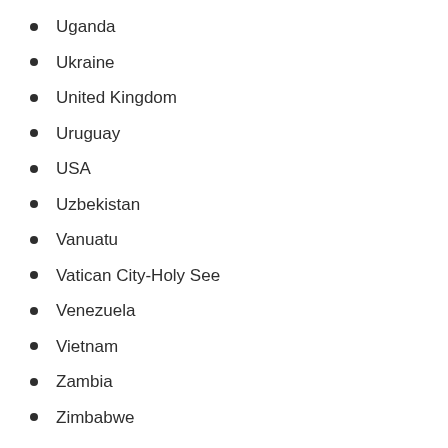Uganda
Ukraine
United Kingdom
Uruguay
USA
Uzbekistan
Vanuatu
Vatican City-Holy See
Venezuela
Vietnam
Zambia
Zimbabwe